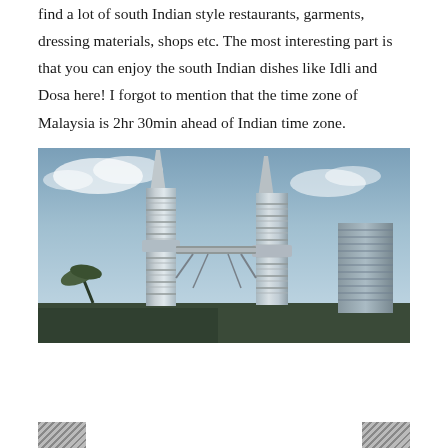find a lot of south Indian style restaurants, garments, dressing materials, shops etc. The most interesting part is that you can enjoy the south Indian dishes like Idli and Dosa here! I forgot to mention that the time zone of Malaysia is 2hr 30min ahead of Indian time zone.
[Figure (photo): Low-angle photograph looking up at the Petronas Twin Towers in Kuala Lumpur, Malaysia, with a blue sky and clouds in the background. The two tall skyscrapers with their distinctive ribbed facades dominate the frame, connected by a skybridge. Palm trees visible at the lower left.]